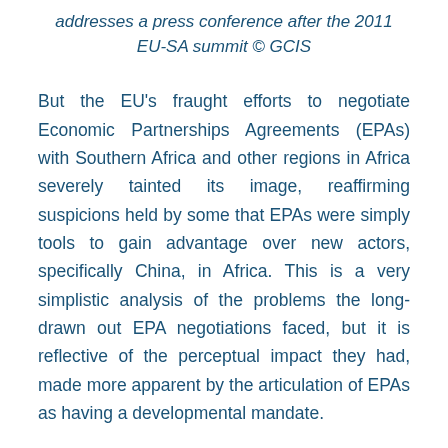addresses a press conference after the 2011 EU-SA summit © GCIS
But the EU's fraught efforts to negotiate Economic Partnerships Agreements (EPAs) with Southern Africa and other regions in Africa severely tainted its image, reaffirming suspicions held by some that EPAs were simply tools to gain advantage over new actors, specifically China, in Africa. This is a very simplistic analysis of the problems the long-drawn out EPA negotiations faced, but it is reflective of the perceptual impact they had, made more apparent by the articulation of EPAs as having a developmental mandate.